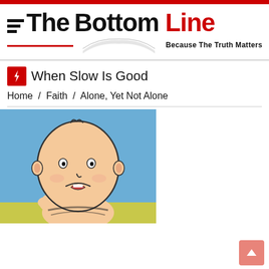The Bottom Line — Because The Truth Matters
When Slow Is Good
Home / Faith / Alone, Yet Not Alone
[Figure (illustration): Charlie Brown cartoon character looking sad and pensive, resting his chin on his hand, with a blue background and yellow-green ground]